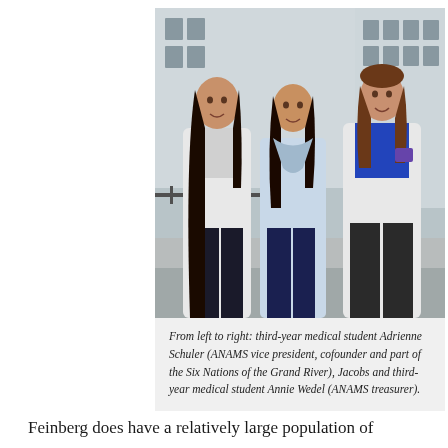[Figure (photo): Three young women standing together outdoors in front of a building. Two are wearing white medical coats. The woman on the right is wearing a blue shirt under her white coat. The woman in the middle is wearing a light blue blouse. They are smiling.]
From left to right: third-year medical student Adrienne Schuler (ANAMS vice president, cofounder and part of the Six Nations of the Grand River), Jacobs and third-year medical student Annie Wedel (ANAMS treasurer).
Feinberg does have a relatively large population of